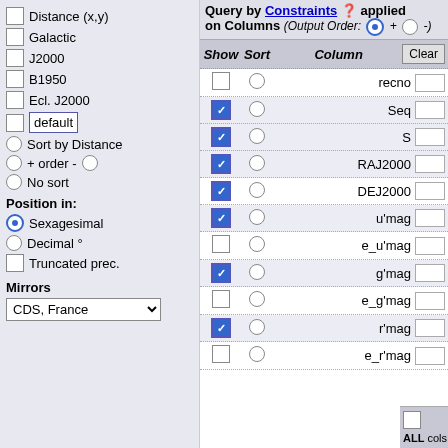Distance (x,y)
Galactic
J2000
B1950
Ecl. J2000
default
Sort by Distance
+ order -
No sort
Position in:
Sexagesimal
Decimal °
Truncated prec.
Mirrors
CDS, France
Query by Constraints applied on Columns (Output Order: + -)
| Show | Sort | Column | Clear |
| --- | --- | --- | --- |
| ☐ | ○ | recno |  |
| ☑ | ○ | Seq |  |
| ☑ | ○ | S |  |
| ☑ | ○ | RAJ2000 |  |
| ☑ | ○ | DEJ2000 |  |
| ☑ | ○ | u'mag |  |
| ☐ | ○ | e_u'mag |  |
| ☑ | ○ | g'mag |  |
| ☐ | ○ | e_g'mag |  |
| ☑ | ○ | r'mag |  |
| ☐ | ○ | e_r'mag |  |